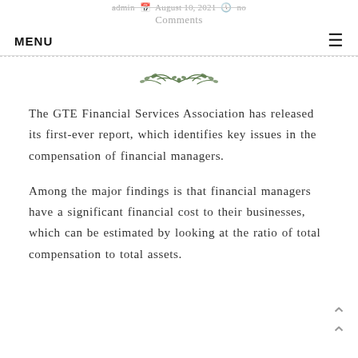admin · August 10, 2021 · no Comments
MENU ≡
[Figure (illustration): Decorative floral/leaf ornament divider]
The GTE Financial Services Association has released its first-ever report, which identifies key issues in the compensation of financial managers.
Among the major findings is that financial managers have a significant financial cost to their businesses, which can be estimated by looking at the ratio of total compensation to total assets.